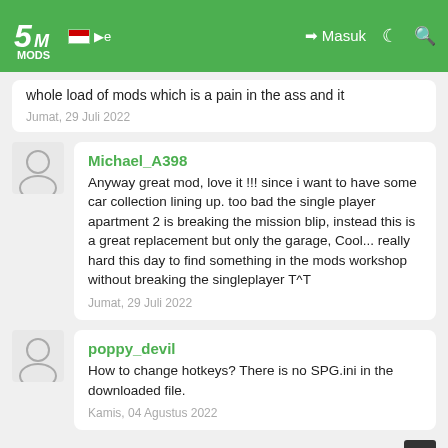5MODS | Masuk
whole load of mods which is a pain in the ass and it
Jumat, 29 Juli 2022
Michael_A398
Anyway great mod, love it !!! since i want to have some car collection lining up. too bad the single player apartment 2 is breaking the mission blip, instead this is a great replacement but only the garage, Cool... really hard this day to find something in the mods workshop without breaking the singleplayer T^T
Jumat, 29 Juli 2022
poppy_devil
How to change hotkeys? There is no SPG.ini in the downloaded file.
Kamis, 04 Agustus 2022
Andrey260201
Can someone help? Why when I pressing E and